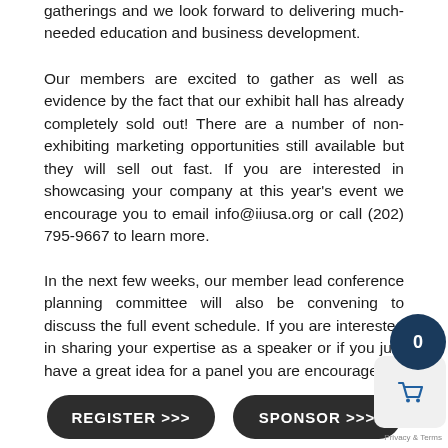gatherings and we look forward to delivering much-needed education and business development.
Our members are excited to gather as well as evidence by the fact that our exhibit hall has already completely sold out! There are a number of non-exhibiting marketing opportunities still available but they will sell out fast. If you are interested in showcasing your company at this year's event we encourage you to email info@iiusa.org or call (202) 795-9667 to learn more.
In the next few weeks, our member lead conference planning committee will also be convening to discuss the full event schedule. If you are interested in sharing your expertise as a speaker or if you just have a great idea for a panel you are encouraged to complete the speaker request form by following the link below.
REGISTER >>>
SPONSOR >>>